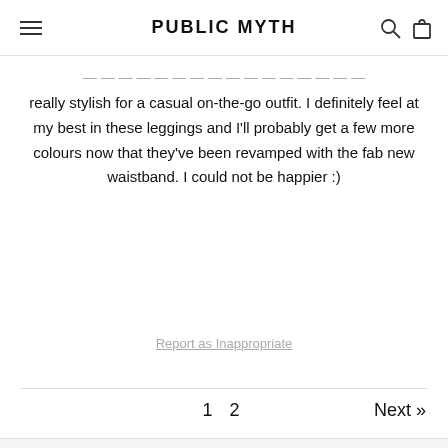PUBLIC MYTH
really stylish for a casual on-the-go outfit. I definitely feel at my best in these leggings and I'll probably get a few more colours now that they've been revamped with the fab new waistband. I could not be happier :)
Report as Inappropriate
1 2   Next »